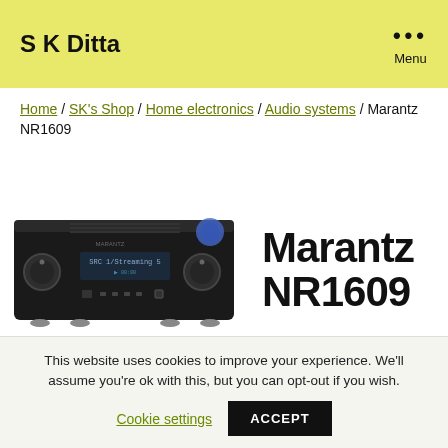S K Ditta  ••• Menu
Home / SK's Shop / Home electronics / Audio systems / Marantz NR1609
[Figure (photo): Photo of a Marantz NR1609 AV receiver, a slim black device with knobs and a display panel]
Marantz NR1609
At SKDitta
This website uses cookies to improve your experience. We'll assume you're ok with this, but you can opt-out if you wish.
Cookie settings  ACCEPT